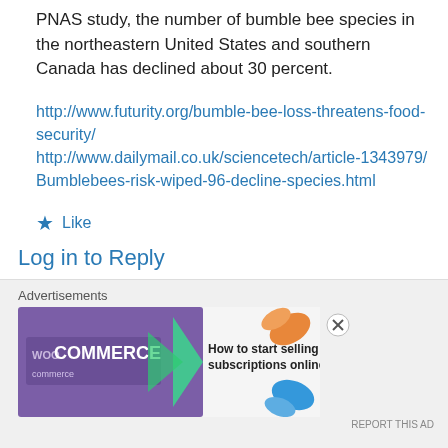PNAS study, the number of bumble bee species in the northeastern United States and southern Canada has declined about 30 percent.
http://www.futurity.org/bumble-bee-loss-threatens-food-security/
http://www.dailymail.co.uk/sciencetech/article-1343979/Bumblebees-risk-wiped-96-decline-species.html
★ Like
Log in to Reply
[Figure (screenshot): WooCommerce advertisement banner: purple background with WooCommerce logo and text 'How to start selling subscriptions online', with green arrow graphic and orange/blue leaf graphics on the right side.]